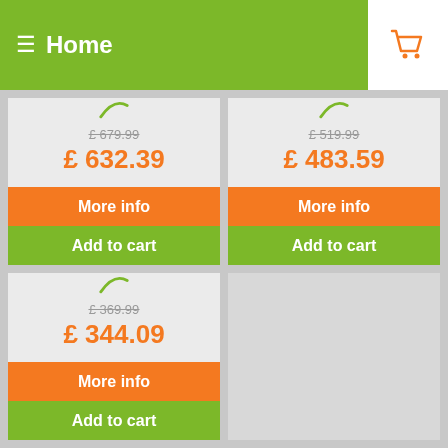≡ Home
£679.99 / £ 632.39 — More info / Add to cart
£519.99 / £ 483.59 — More info / Add to cart
£369.99 / £ 344.09 — More info / Add to cart